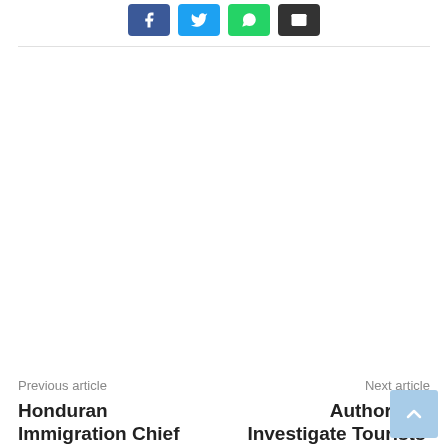[Figure (other): Social share buttons: Facebook (blue), Twitter (light blue), WhatsApp (green), Email (black)]
Previous article
Honduran Immigration Chief Suspended
Next article
Authorities Investigate Tourists' Drowning